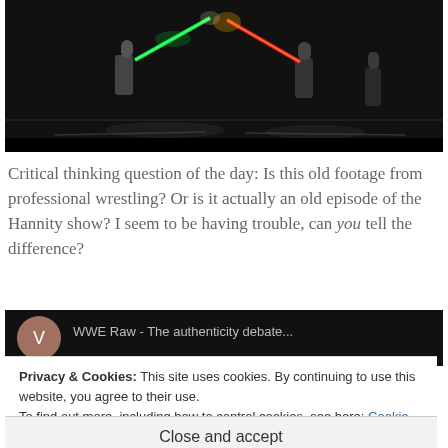[Figure (screenshot): Dark scene with two figures fighting with lightsabers — one green, one red — against a dark background with light streaks on the floor.]
Critical thinking question of the day: Is this old footage from professional wrestling? Or is it actually an old episode of the Hannity show? I seem to be having trouble, can you tell the difference?
[Figure (screenshot): Dark video thumbnail showing a circular avatar icon and partial video title text in gray on black background.]
Privacy & Cookies: This site uses cookies. By continuing to use this website, you agree to their use.
To find out more, including how to control cookies, see here: Cookie Policy
Close and accept